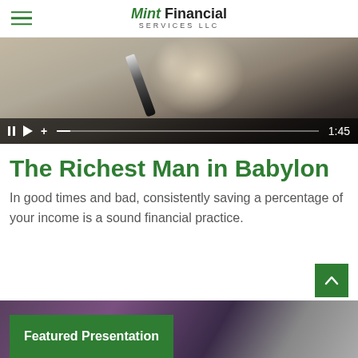Mint Financial Services LLC
[Figure (screenshot): Video player showing a close-up of a hand holding a marker/pen over documents, with playback controls showing pause, play, plus icons, a progress bar, and timestamp 1:45]
The Richest Man in Babylon
In good times and bad, consistently saving a percentage of your income is a sound financial practice.
Featured Presentation